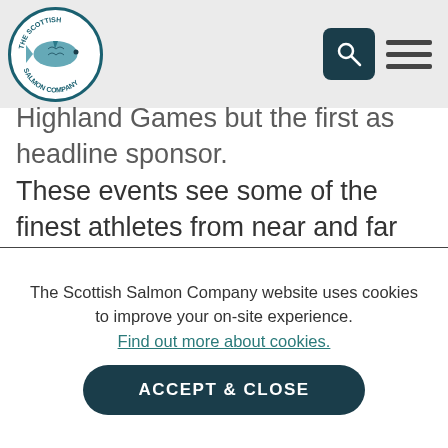[Figure (logo): The Scottish Salmon Company circular logo with salmon illustration]
Highland Games but the first as headline sponsor. These events see some of the finest athletes from near and far test their strength, skill and competitive resolve in challenges such as hurling the hammer, throwing the shot putt, and the old favourite – tossing the caber. The Heavies competitors will not only be donning their kilts, but they will also be wearing t-shirts provided by The Scottish Salmon Company.
The Scottish Salmon Company website uses cookies to improve your on-site experience. Find out more about cookies.
ACCEPT & CLOSE